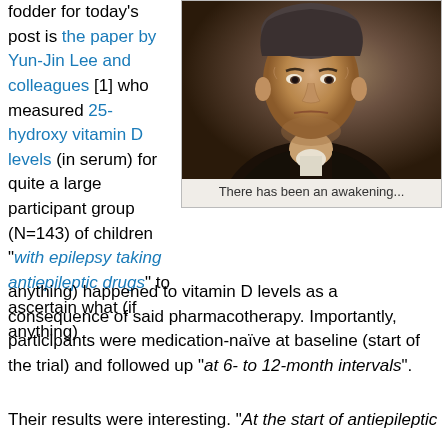fodder for today's post is the paper by Yun-Jin Lee and colleagues [1] who measured 25-hydroxy vitamin D levels (in serum) for quite a large participant group (N=143) of children "with epilepsy taking antiepileptic drugs" to ascertain what (if anything) happened to vitamin D levels as a consequence of said pharmacotherapy. Importantly, participants were medication-naïve at baseline (start of the trial) and followed up "at 6- to 12-month intervals".
[Figure (photo): Portrait painting of an elderly man in dark clothing with white collar, stern expression, grey hair. Caption: There has been an awakening...]
There has been an awakening...
Their results were interesting. "At the start of antiepileptic